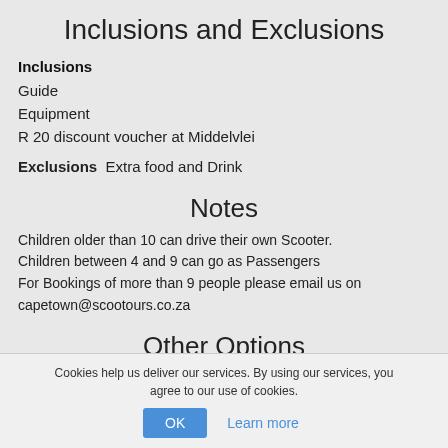Inclusions and Exclusions
Inclusions
Guide
Equipment
R 20 discount voucher at Middelvlei
Exclusions  Extra food and Drink
Notes
Children older than 10 can drive their own Scooter.
Children between 4 and 9 can go as Passengers
For Bookings of more than 9 people please email us on capetown@scootours.co.za
Other Options
Cookies help us deliver our services. By using our services, you agree to our use of cookies.